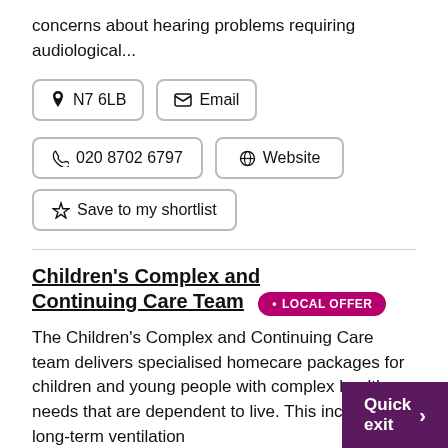concerns about hearing problems requiring audiological...
N7 6LB
Email
020 8702 6797
Website
Save to my shortlist
Children's Complex and Continuing Care Team LOCAL OFFER
The Children's Complex and Continuing Care team delivers specialised homecare packages for children and young people with complex health needs that are dependent to live. This includes long-term ventilation